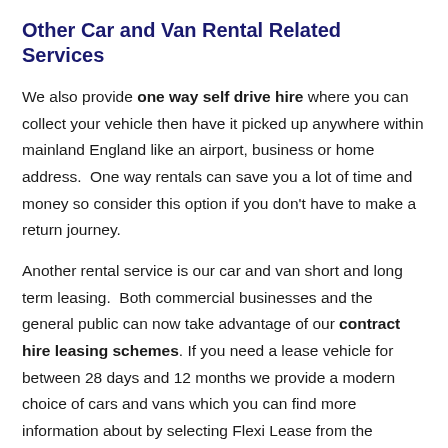Other Car and Van Rental Related Services
We also provide one way self drive hire where you can collect your vehicle then have it picked up anywhere within mainland England like an airport, business or home address.  One way rentals can save you a lot of time and money so consider this option if you don't have to make a return journey.
Another rental service is our car and van short and long term leasing.  Both commercial businesses and the general public can now take advantage of our contract hire leasing schemes. If you need a lease vehicle for between 28 days and 12 months we provide a modern choice of cars and vans which you can find more information about by selecting Flexi Lease from the Bookings and Enquiries form